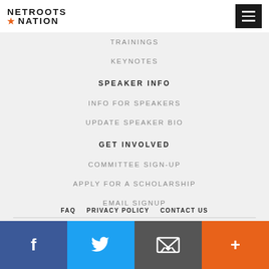NETROOTS NATION
TRAININGS
KEYNOTES
SPEAKER INFO
INFO FOR SPEAKERS
UPDATE SPEAKER BIO
GET INVOLVED
COMMITTEE SIGN-UP
APPLY FOR A SCHOLARSHIP
EMAIL SIGNUP
FAQ  PRIVACY POLICY  CONTACT US
[Figure (infographic): Social media bar with Facebook, Twitter, email, and plus icons]